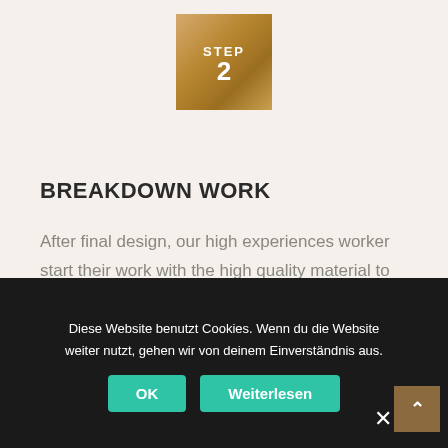[Figure (infographic): Gold/bronze colored square box with 'STEP 2' text in white, centered at top of the page]
BREAKDOWN WORK
After final design, our high experiences worker start their work with the high quality material to create awesome products and bring to customer on time.
Diese Website benutzt Cookies. Wenn du die Website weiter nutzt, gehen wir von deinem Einverständnis aus.
OK
Weiterlesen